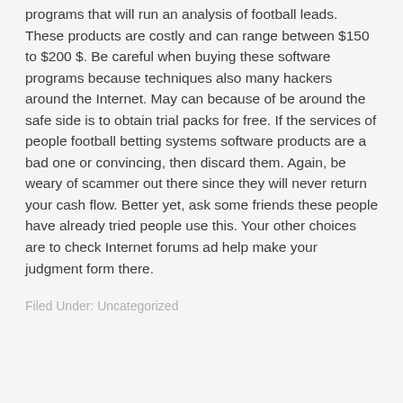programs that will run an analysis of football leads. These products are costly and can range between $150 to $200 $. Be careful when buying these software programs because techniques also many hackers around the Internet. May can because of be around the safe side is to obtain trial packs for free. If the services of people football betting systems software products are a bad one or convincing, then discard them. Again, be weary of scammer out there since they will never return your cash flow. Better yet, ask some friends these people have already tried people use this. Your other choices are to check Internet forums ad help make your judgment form there.
Filed Under: Uncategorized